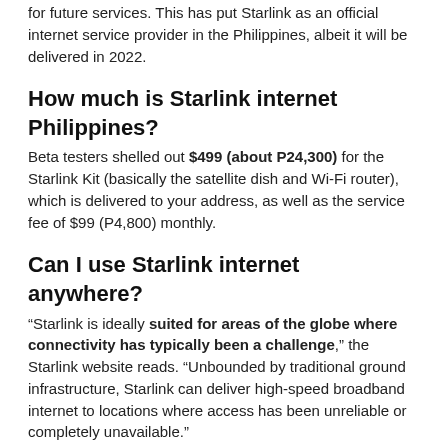for future services. This has put Starlink as an official internet service provider in the Philippines, albeit it will be delivered in 2022.
How much is Starlink internet Philippines?
Beta testers shelled out $499 (about P24,300) for the Starlink Kit (basically the satellite dish and Wi-Fi router), which is delivered to your address, as well as the service fee of $99 (P4,800) monthly.
Can I use Starlink internet anywhere?
“Starlink is ideally suited for areas of the globe where connectivity has typically been a challenge,” the Starlink website reads. “Unbounded by traditional ground infrastructure, Starlink can deliver high-speed broadband internet to locations where access has been unreliable or completely unavailable.”
Is Starlink available in all countries?